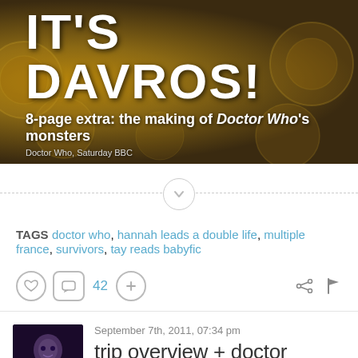[Figure (photo): Banner image with golden Dalek props in background, large white text 'IT'S DAVROS!' with subtitle '8-page extra: the making of Doctor Who's monsters' and byline 'Doctor Who, Saturday BBC']
[Figure (other): Dashed horizontal divider line with a circle containing a chevron/down arrow in the center]
TAGS doctor who, hannah leads a double life, multiple france, survivors, tay reads babyfic
[Figure (other): Action icons row: heart icon, comment bubble with 42, plus circle, share icon, flag icon]
[Figure (photo): Small avatar thumbnail showing a person with purple/blue tones]
September 7th, 2011, 07:34 pm
trip overview + doctor faustus review